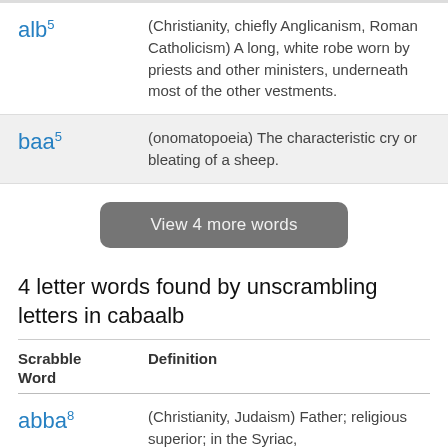alb⁵ — (Christianity, chiefly Anglicanism, Roman Catholicism) A long, white robe worn by priests and other ministers, underneath most of the other vestments.
baa⁵ — (onomatopoeia) The characteristic cry or bleating of a sheep.
View 4 more words
4 letter words found by unscrambling letters in cabaalb
| Scrabble Word | Definition |
| --- | --- |
| abba⁸ | (Christianity, Judaism) Father; religious superior; in the Syriac, |
Coptic, and Ethiopian churches, a title...